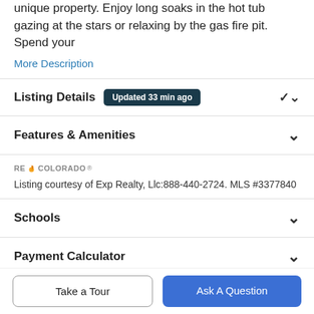unique property. Enjoy long soaks in the hot tub gazing at the stars or relaxing by the gas fire pit. Spend your
More Description
Listing Details Updated 33 min ago
Features & Amenities
[Figure (logo): REcolorado logo with flame icon]
Listing courtesy of Exp Realty, Llc:888-440-2724. MLS #3377840
Schools
Payment Calculator
Take a Tour
Ask A Question